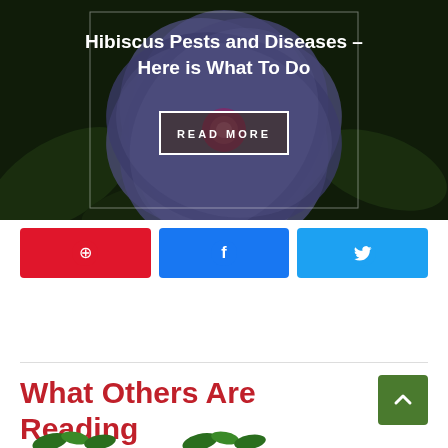[Figure (photo): Hibiscus flower with purple/blue petals close-up photo with dark overlay, showing READ MORE button and title text overlay]
Hibiscus Pests and Diseases – Here is What To Do
READ MORE
[Figure (infographic): Three social share buttons: Pinterest (red), Facebook (blue), Twitter (light blue)]
What Others Are Reading
[Figure (illustration): Partial thumbnail images of plant-related articles at bottom of page]